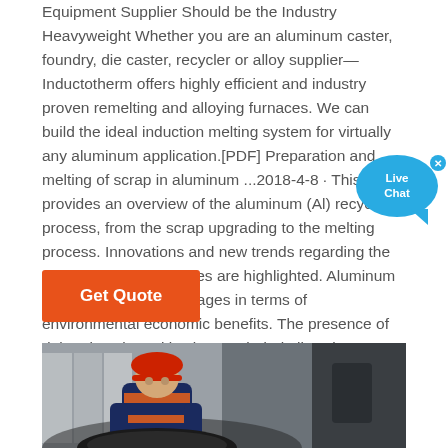Equipment Supplier Should be the Industry Heavyweight Whether you are an aluminum caster, foundry, die caster, recycler or alloy supplier—Inductotherm offers highly efficient and industry proven remelting and alloying furnaces. We can build the ideal induction melting system for virtually any aluminum application.[PDF] Preparation and melting of scrap in aluminum ...2018-4-8 · This work provides an overview of the aluminum (Al) recycling process, from the scrap upgrading to the melting process. Innovations and new trends regarding the Al recycling technologies are highlighted. Aluminum recycling offers advantages in terms of environmental economic benefits. The presence of deleterious impurities in recycled Al alloys is increasing …
[Figure (other): Live Chat bubble widget in blue with close X button]
[Figure (illustration): Orange 'Get Quote' button]
[Figure (photo): Worker in hard hat and safety gear working on industrial aluminum melting equipment]